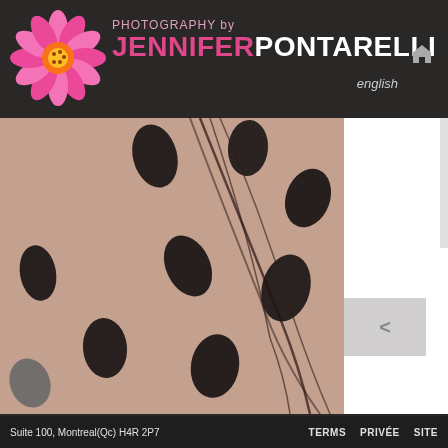[Figure (logo): Photography by Jennifer Pontarelli logo with pink gerbera daisy flower and brand name text on dark background]
english
[Figure (photo): Close-up macro photograph of black hot stones arranged on skin with dark hair strands, warm skin tones, spa/wellness context]
Suite 100, Montreal(Qc) H4R 2P7   TERMS   PRIVÉE   SITE